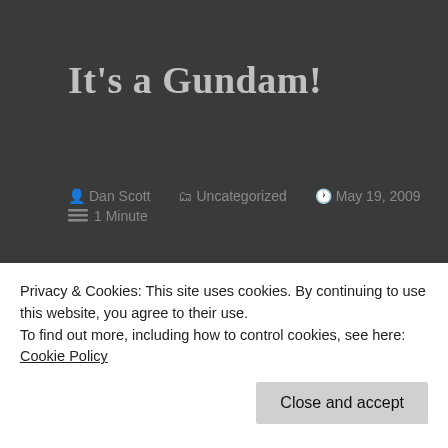It's a Gundam!
Dan Scott   Uncategorized   May 19, 2009   1 Minute
Alright, so I've been a fan of the Gundam series since middle school.  I like all of the series, but my favorite by far has been Gundam Wing, probably because it was the first I ever watched (by the way, the
Privacy & Cookies: This site uses cookies. By continuing to use this website, you agree to their use.
To find out more, including how to control cookies, see here: Cookie Policy
fellow WordPress user Moe Passion, I have seen